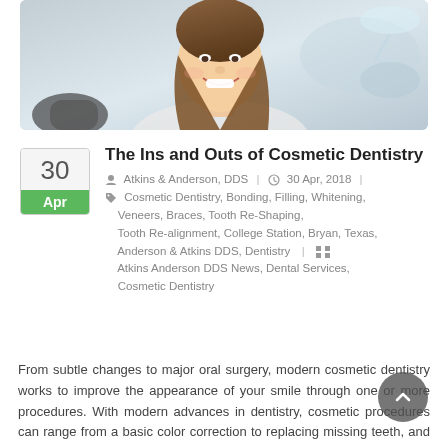[Figure (photo): Smiling young woman with long brown hair in a dental chair, dental equipment visible in background, bright clinical setting.]
The Ins and Outs of Cosmetic Dentistry
Atkins & Anderson, DDS | 30 Apr, 2018 | Cosmetic Dentistry, Bonding, Filling, Whitening, Veneers, Braces, Tooth Re-Shaping, Tooth Re-alignment, College Station, Bryan, Texas, Anderson & Atkins DDS, Dentistry | Atkins Anderson DDS News, Dental Services, Cosmetic Dentistry
From subtle changes to major oral surgery, modern cosmetic dentistry works to improve the appearance of your smile through one or more procedures. With modern advances in dentistry, cosmetic procedures can range from a basic color correction to replacing missing teeth, and everything in between.